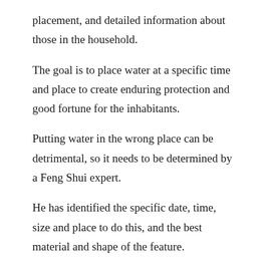placement, and detailed information about those in the household.
The goal is to place water at a specific time and place to create enduring protection and good fortune for the inhabitants.
Putting water in the wrong place can be detrimental, so it needs to be determined by a Feng Shui expert.
He has identified the specific date, time, size and place to do this, and the best material and shape of the feature.
Our house, Floyd, has a rustic vibe, so we are using a galvanized feed trough that is 6' in diameter. The placement will be at 11:00 am on June 26. Stay tuned for more details as we approach June 26.